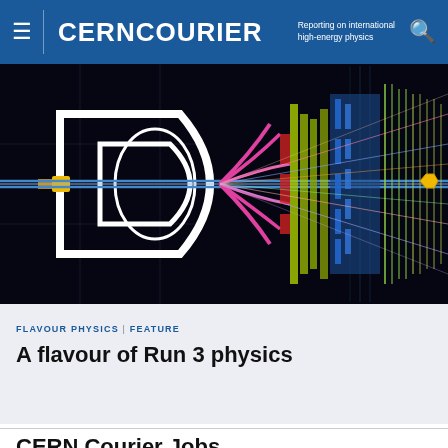CERNCOURIER — Reporting on international high-energy physics
[Figure (photo): Cross-sectional visualization of a particle detector at a high-energy physics experiment, showing colorful particle tracks radiating outward from a central collision point, with structural components of the detector rendered in white outline against a dark background.]
FLAVOUR PHYSICS | FEATURE
A flavour of Run 3 physics
CERN Courier Jobs
CHINA | SONGSHAN LAKE MATERIALS LABORATORY